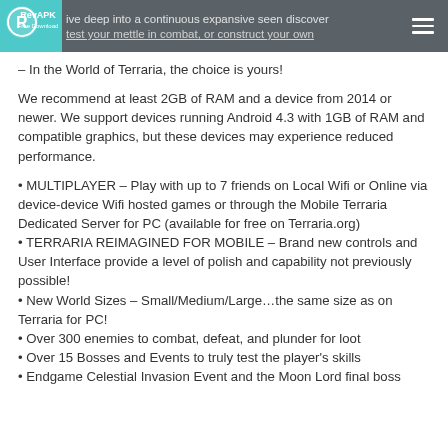ive deep into a continuous expansive open-world – In the World of Terraria, the choice is yours! [logo: RevAPK Free Download] [hamburger menu]
– In the World of Terraria, the choice is yours!
We recommend at least 2GB of RAM and a device from 2014 or newer. We support devices running Android 4.3 with 1GB of RAM and compatible graphics, but these devices may experience reduced performance.
• MULTIPLAYER – Play with up to 7 friends on Local Wifi or Online via device-device Wifi hosted games or through the Mobile Terraria Dedicated Server for PC (available for free on Terraria.org)
• TERRARIA REIMAGINED FOR MOBILE – Brand new controls and User Interface provide a level of polish and capability not previously possible!
• New World Sizes – Small/Medium/Large…the same size as on Terraria for PC!
• Over 300 enemies to combat, defeat, and plunder for loot
• Over 15 Bosses and Events to truly test the player's skills
• Endgame Celestial Invasion Event and the Moon Lord final boss